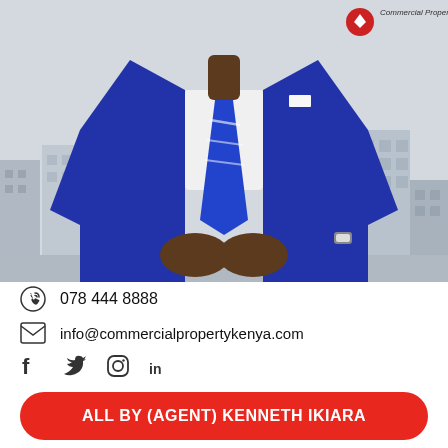[Figure (photo): Professional man in a royal blue suit with striped blue tie, clasped hands, standing against a cityscape background with buildings. A logo reading 'Commercial Property Kenya' is visible in the top right corner.]
078 444 8888
info@commercialpropertykenya.com
Social media icons: Facebook, Twitter, Instagram, LinkedIn
ALL BY (AGENT) KENNETH IKIARA